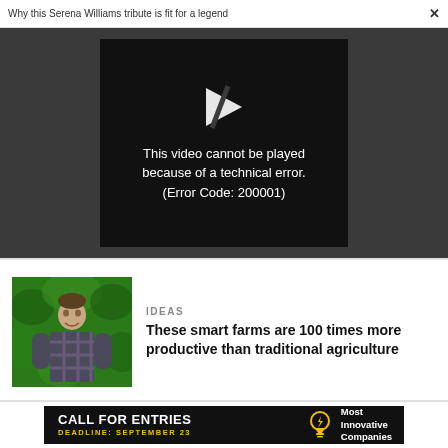Why this Serena Williams tribute is fit for a legend  ×
[Figure (screenshot): Video player error screen on dark gray background. Black rectangle with a broken play button icon and text: This video cannot be played because of a technical error. (Error Code: 200001)]
[Figure (photo): Man in plaid shirt standing in front of green foliage]
IDEAS
These smart farms are 100 times more productive than traditional agriculture
[Figure (infographic): Black advertisement banner: CALL FOR ENTRIES DEADLINE: SEPTEMBER 23 with a light bulb icon and Most Innovative Companies text]